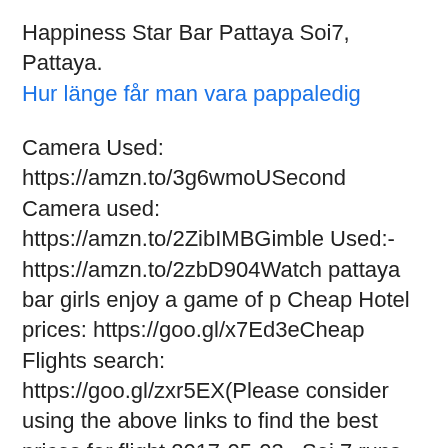Happiness Star Bar Pattaya Soi7, Pattaya.
Hur länge får man vara pappaledig
Camera Used: https://amzn.to/3g6wmoUSecond Camera used: https://amzn.to/2ZibIMBGimble Used:- https://amzn.to/2zbD904Watch pattaya bar girls enjoy a game of p Cheap Hotel prices: https://goo.gl/x7Ed3eCheap Flights search: https://goo.gl/zxr5EX(Please consider using the above links to find the best prices for flight 2017-05-03 · Soi 7 runs from Beach Rd through to 2nd Rd which is very convenient if you are travelling by Baht Bus. Soi 7 Pattaya Pubs Bars Babes.
Address : Soi 7, Pattaya, Thailand. Soi 7 Pattaya; the location and the customers. Soi 7 and its sister soi 8 run parallel to each other from Second Road